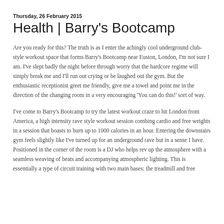Thursday, 26 February 2015
Health | Barry's Bootcamp
Are you ready for this? The truth is as I enter the achingly cool underground club-style workout space that forms Barry's Bootcamp near Euston, London, I'm not sure I am. I've slept badly the night before through worry that the hardcore regime will simply break me and I'll run out crying or be laughed out the gym. But the enthusiastic receptionist greet me friendly, give me a towel and point me in the direction of the changing room in a very encouraging 'You can do this!' sort of way.
I've come to Barry's Bootcamp to try the latest workout craze to hit London from America, a high intensity rave style workout session combing cardio and free weights in a session that boasts to burn up to 1000 calories in an hour. Entering the downstairs gym feels slightly like I've turned up for an underground rave but in a sense I have. Positioned in the corner of the room is a DJ who helps rev up the atmosphere with a seamless weaving of beats and accompanying atmospheric lighting. This is essentially a type of circuit training with two main bases: the treadmill and free